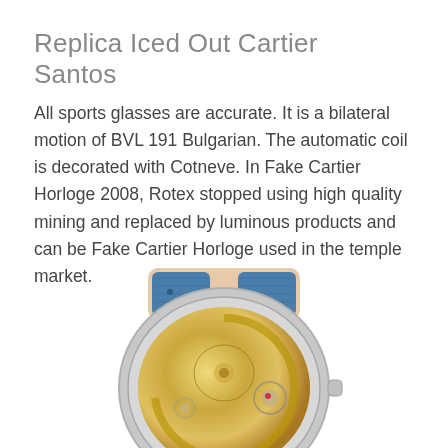Replica Iced Out Cartier Santos
All sports glasses are accurate. It is a bilateral motion of BVL 191 Bulgarian. The automatic coil is decorated with Cotneve. In Fake Cartier Horloge 2008, Rotex stopped using high quality mining and replaced by luminous products and can be Fake Cartier Horloge used in the temple market.
[Figure (photo): Bottom/caseback view of a luxury watch with a blue leather strap and transparent exhibition caseback showing golden automatic movement with engravings and rotor, set in a silver stainless steel case.]